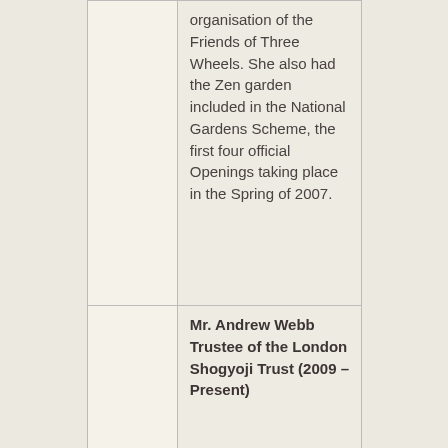|  | organisation of the Friends of Three Wheels. She also had the Zen garden included in the National Gardens Scheme, the first four official Openings taking place in the Spring of 2007. |
|  | Mr. Andrew Webb
Trustee of the London Shogyoji Trust (2009 – Present) |